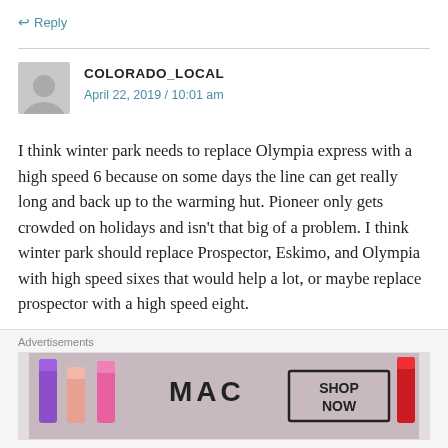↩ Reply
COLORADO_LOCAL
April 22, 2019 / 10:01 am
I think winter park needs to replace Olympia express with a high speed 6 because on some days the line can get really long and back up to the warming hut. Pioneer only gets crowded on holidays and isn't that big of a problem. I think winter park should replace Prospector, Eskimo, and Olympia with high speed sixes that would help a lot, or maybe replace prospector with a high speed eight.
★ Like
Advertisements
[Figure (photo): MAC cosmetics advertisement showing lipsticks with 'SHOP NOW' button]